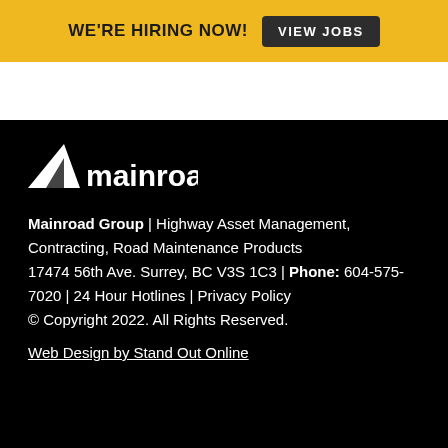WE'RE HIRING NOW! VIEW JOBS
[Figure (logo): Mainroad logo — white triangle/road mark with 'mainroad' text on black background]
Mainroad Group | Highway Asset Management, Contracting, Road Maintenance Products
17474 56th Ave. Surrey, BC V3S 1C3 | Phone: 604-575-7020 | 24 Hour Hotlines | Privacy Policy
© Copyright 2022. All Rights Reserved.
Web Design by Stand Out Online